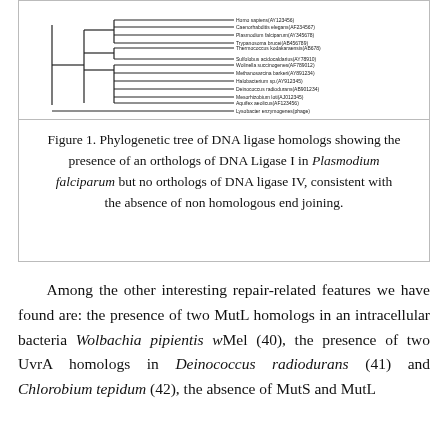[Figure (other): Phylogenetic tree (cladogram) showing DNA ligase homologs across various species, with branching lines depicting evolutionary relationships.]
Figure 1. Phylogenetic tree of DNA ligase homologs showing the presence of an orthologs of DNA Ligase I in Plasmodium falciparum but no orthologs of DNA ligase IV, consistent with the absence of non homologous end joining.
Among the other interesting repair-related features we have found are: the presence of two MutL homologs in an intracellular bacteria Wolbachia pipientis wMel (40), the presence of two UvrA homologs in Deinococcus radiodurans (41) and Chlorobium tepidum (42), the absence of MutS and MutL